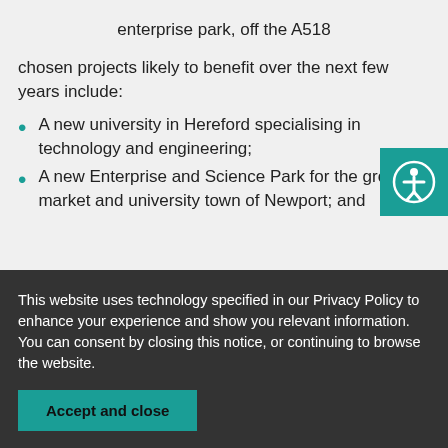enterprise park, off the A518
chosen projects likely to benefit over the next few years include:
A new university in Hereford specialising in technology and engineering;
A new Enterprise and Science Park for the growing market and university town of Newport; and
This website uses technology specified in our Privacy Policy to enhance your experience and show you relevant information. You can consent by closing this notice, or continuing to browse the website.